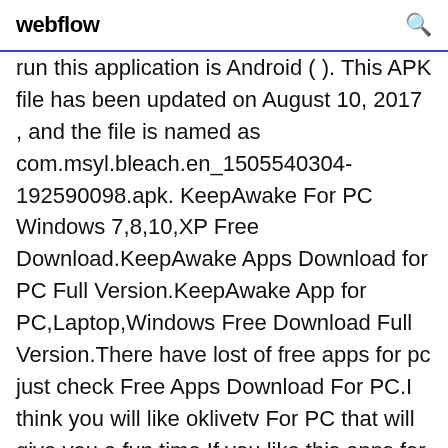webflow
run this application is Android ( ). This APK file has been updated on August 10, 2017 , and the file is named as com.msyl.bleach.en_1505540304-192590098.apk. KeepAwake For PC Windows 7,8,10,XP Free Download.KeepAwake Apps Download for PC Full Version.KeepAwake App for PC,Laptop,Windows Free Download Full Version.There have lost of free apps for pc just check Free Apps Download For PC.I think you will like oklivetv For PC that will give you a fun time.If you like this apps for pc just download ARMY Amino for BTS Stans Apps too.